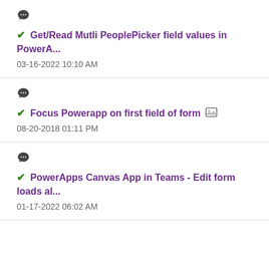Get/Read Mutli PeoplePicker field values in PowerA... 03-16-2022 10:10 AM
Focus Powerapp on first field of form 08-20-2018 01:11 PM
PowerApps Canvas App in Teams - Edit form loads al... 01-17-2022 06:02 AM